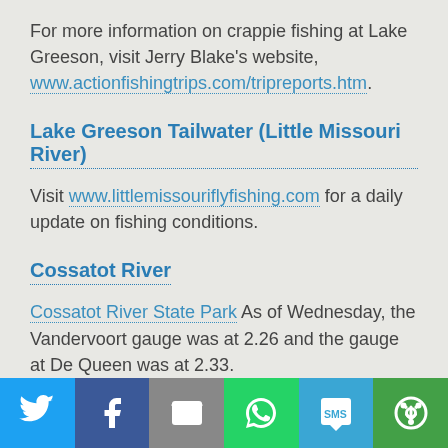For more information on crappie fishing at Lake Greeson, visit Jerry Blake's website, www.actionfishingtrips.com/tripreports.htm.
Lake Greeson Tailwater (Little Missouri River)
Visit www.littlemissouriflyfishing.com for a daily update on fishing conditions.
Cossatot River
Cossatot River State Park As of Wednesday, the Vandervoort gauge was at 2.26 and the gauge at De Queen was at 2.33.
DeGray Lake